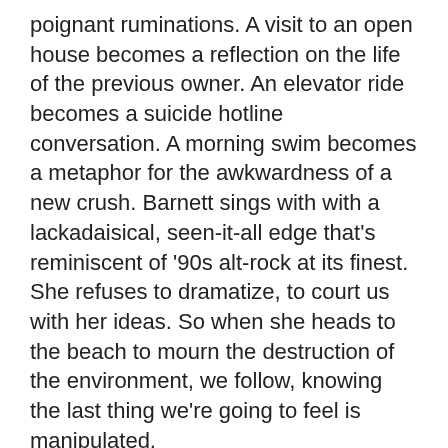poignant ruminations. A visit to an open house becomes a reflection on the life of the previous owner. An elevator ride becomes a suicide hotline conversation. A morning swim becomes a metaphor for the awkwardness of a new crush. Barnett sings with with a lackadaisical, seen-it-all edge that's reminiscent of '90s alt-rock at its finest. She refuses to dramatize, to court us with her ideas. So when she heads to the beach to mourn the destruction of the environment, we follow, knowing the last thing we're going to feel is manipulated.
Honorable Mentions: Drake & Future – What a Time To Be Alive; DVS – DVTV; Fetty Wap – Fetty Wap; Future – DS2; Goatsnake – Black Age Blues; High On Fire – Luminiferous; iLoveMakonnen – Drink More Water 5; Jamie xx – In Colour; Jay Rock –